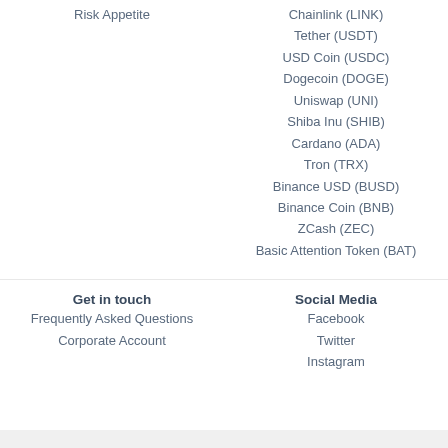Risk Appetite
Chainlink (LINK)
Tether (USDT)
USD Coin (USDC)
Dogecoin (DOGE)
Uniswap (UNI)
Shiba Inu (SHIB)
Cardano (ADA)
Tron (TRX)
Binance USD (BUSD)
Binance Coin (BNB)
ZCash (ZEC)
Basic Attention Token (BAT)
Get in touch
Social Media
Frequently Asked Questions
Corporate Account
Facebook
Twitter
Instagram